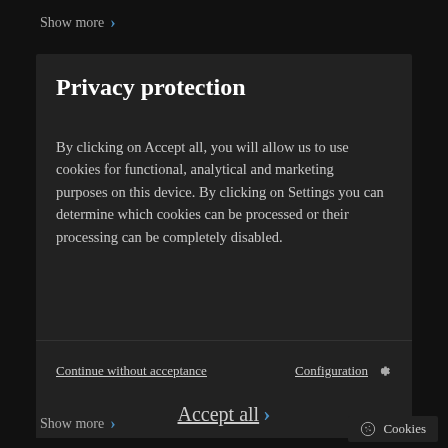Show more >
Privacy protection
By clicking on Accept all, you will allow us to use cookies for functional, analytical and marketing purposes on this device. By clicking on Settings you can determine which cookies can be processed or their processing can be completely disabled.
Continue without acceptance
Configuration ⚙
Accept all >
Show more >
🍪 Cookies